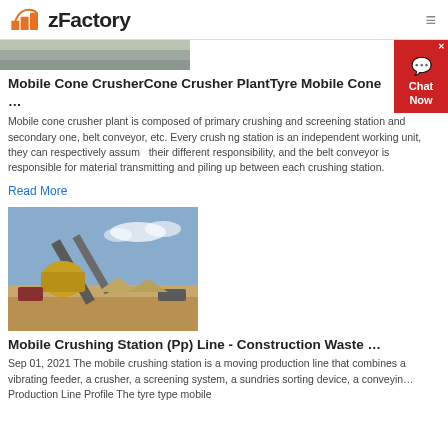zFactory
[Figure (photo): Partial view of crushed stone/gravel material at top of page]
Mobile Cone CrusherCone Crusher PlantTyre Mobile Cone …
Mobile cone crusher plant is composed of primary crushing and screening station and secondary one, belt conveyor, etc. Every crushing station is an independent working unit, they can respectively assume their different responsibility, and the belt conveyor is responsible for material transmitting and piling up between each crushing station.
Read More
[Figure (photo): Photo of a mobile crushing station with conveyor belts and crusher equipment at an outdoor site]
Mobile Crushing Station (Pp) Line - Construction Waste …
Sep 01, 2021 The mobile crushing station is a moving production line that combines a vibrating feeder, a crusher, a screening system, a sundries sorting device, a conveyin…Production Line Profile The tyre type mobile